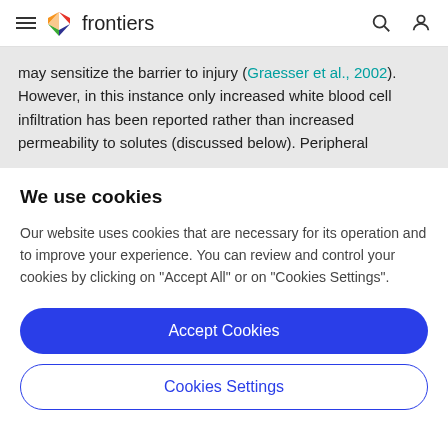frontiers
may sensitize the barrier to injury (Graesser et al., 2002). However, in this instance only increased white blood cell infiltration has been reported rather than increased permeability to solutes (discussed below). Peripheral
We use cookies
Our website uses cookies that are necessary for its operation and to improve your experience. You can review and control your cookies by clicking on "Accept All" or on "Cookies Settings".
Accept Cookies
Cookies Settings